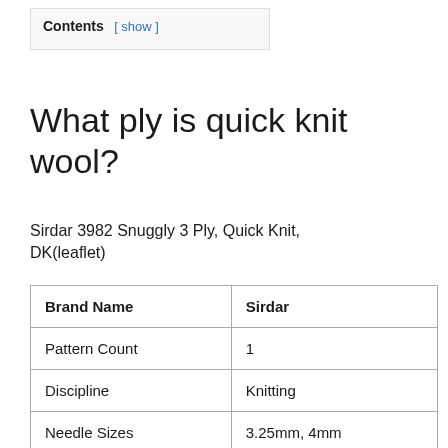Contents [ show ]
What ply is quick knit wool?
Sirdar 3982 Snuggly 3 Ply, Quick Knit, DK(leaflet)
| Brand Name | Sirdar |
| --- | --- |
| Pattern Count | 1 |
| Discipline | Knitting |
| Needle Sizes | 3.25mm, 4mm |
| Yarn Weight | 3 Ply, DK |